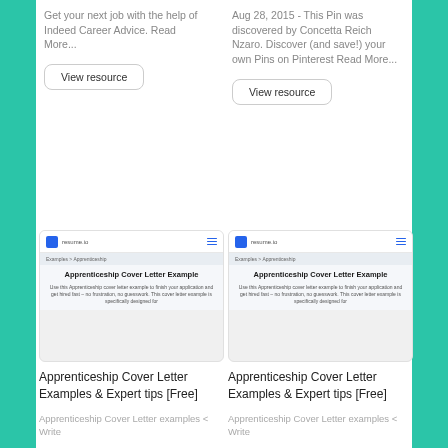Get your next job with the help of Indeed Career Advice. Read More...
View resource
Aug 28, 2015 - This Pin was discovered by Concetta Reich Nzaro. Discover (and save!) your own Pins on Pinterest Read More...
View resource
[Figure (screenshot): Screenshot of resume.io Apprenticeship Cover Letter Example page]
Apprenticeship Cover Letter Examples & Expert tips [Free]
Apprenticeship Cover Letter examples < Write
[Figure (screenshot): Screenshot of resume.io Apprenticeship Cover Letter Example page]
Apprenticeship Cover Letter Examples & Expert tips [Free]
Apprenticeship Cover Letter examples < Write